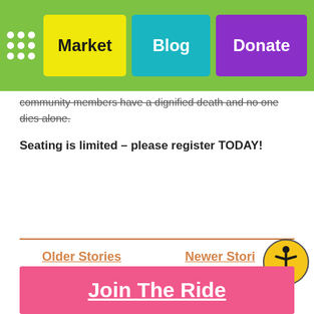Market | Blog | Donate
community members have a dignified death and no one dies alone.
Seating is limited – please register TODAY!
Older Stories
Newer Stories
SHARE : TWITTER TELEGRAM WHATSAPP
Join The Ride